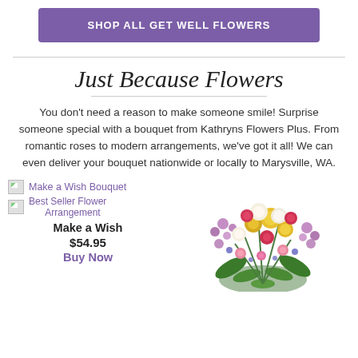SHOP ALL GET WELL FLOWERS
Just Because Flowers
You don’t need a reason to make someone smile! Surprise someone special with a bouquet from Kathryns Flowers Plus. From romantic roses to modern arrangements, we’ve got it all! We can even deliver your bouquet nationwide or locally to Marysville, WA.
[Figure (photo): Make a Wish Bouquet product image (broken/loading)]
[Figure (photo): Best Seller Flower Arrangement product image (broken/loading)]
Make a Wish
$54.95
Buy Now
[Figure (photo): Colorful flower bouquet arrangement with pink, yellow, white, and red flowers with green foliage]